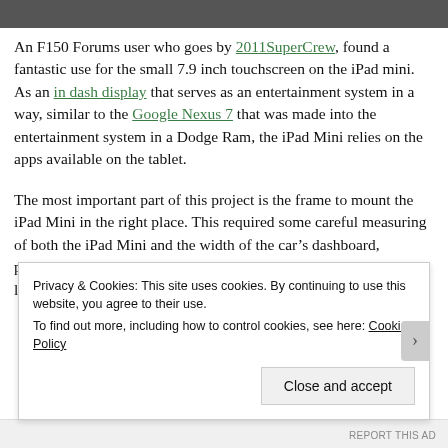[Figure (photo): Partial photo strip at top of page, dark tones]
An F150 Forums user who goes by 2011SuperCrew, found a fantastic use for the small 7.9 inch touchscreen on the iPad mini. As an in dash display that serves as an entertainment system in a way, similar to the Google Nexus 7 that was made into the entertainment system in a Dodge Ram, the iPad Mini relies on the apps available on the tablet.
The most important part of this project is the frame to mount the iPad Mini in the right place. This required some careful measuring of both the iPad Mini and the width of the car’s dashboard, particularly the area just above the CD player where the iPad is located.
Privacy & Cookies: This site uses cookies. By continuing to use this website, you agree to their use.
To find out more, including how to control cookies, see here: Cookie Policy
Close and accept